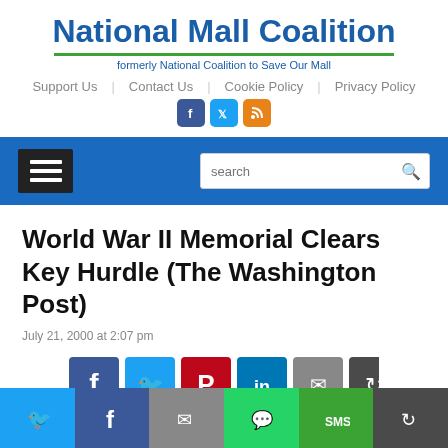National Mall Coalition
formerly National Coalition to Save Our Mall
Support Us | Contact Us | Cookie Policy | Privacy Policy
World War II Memorial Clears Key Hurdle (The Washington Post)
July 21, 2000 at 2:07 pm